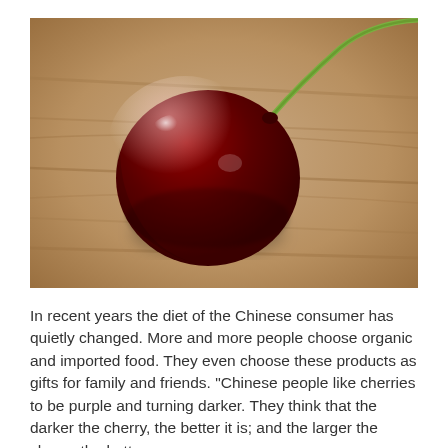[Figure (photo): Close-up photograph of a single dark red cherry with a green stem resting on a wooden surface. The cherry is deeply colored, glossy with light reflections, sitting on what appears to be rough wood grain background in warm tan/brown tones.]
In recent years the diet of the Chinese consumer has quietly changed. More and more people choose organic and imported food. They even choose these products as gifts for family and friends. "Chinese people like cherries to be purple and turning darker. They think that the darker the cherry, the better it is; and the larger the cherry, the better